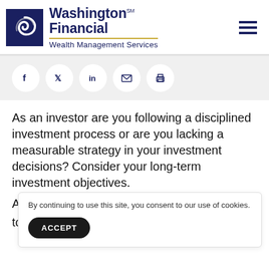[Figure (logo): Washington Financial Wealth Management Services logo with swirl icon]
[Figure (infographic): Social media share icons: Facebook, Twitter, LinkedIn, Email, Print]
As an investor are you following a disciplined investment process or are you lacking a measurable strategy in your investment decisions? Consider your long-term investment objectives.
By continuing to use this site, you consent to our use of cookies.